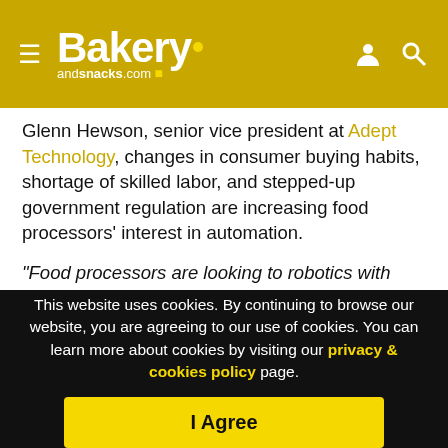Bakery andsnacks.com
Glenn Hewson, senior vice president at Adept Technology, changes in consumer buying habits, shortage of skilled labor, and stepped-up government regulation are increasing food processors' interest in automation.
“Food processors are looking to robotics with integrated vision and conveyor control to provide the speed of hard automation but with flexibility for quick changeover between products,” he said. “Robotics also can profitably ease labor shortage issues for both primary and secondary packaging while delivering on the
This website uses cookies. By continuing to browse our website, you are agreeing to our use of cookies. You can learn more about cookies by visiting our privacy & cookies policy page.